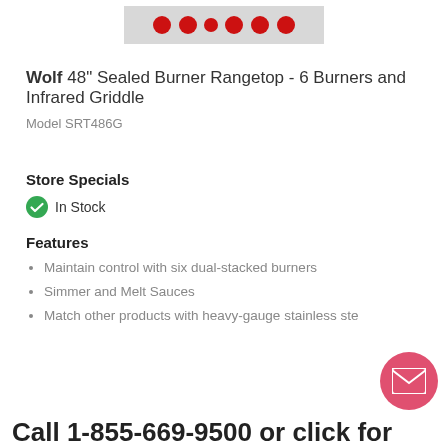[Figure (photo): Partial product image showing red burner knobs of Wolf rangetop]
Wolf 48" Sealed Burner Rangetop - 6 Burners and Infrared Griddle
Model SRT486G
Store Specials
In Stock
Features
Maintain control with six dual-stacked burners
Simmer and Melt Sauces
Match other products with heavy-gauge stainless ste…
Call 1-855-669-9500 or click for